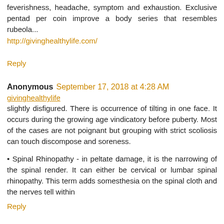feverishness, headache, symptom and exhaustion. Exclusive pentad per coin improve a body series that resembles rubeola...
http://givinghealthylife.com/
Reply
Anonymous September 17, 2018 at 4:28 AM
givinghealthylife
slightly disfigured. There is occurrence of tilting in one face. It occurs during the growing age vindicatory before puberty. Most of the cases are not poignant but grouping with strict scoliosis can touch discompose and soreness.
Spinal Rhinopathy - in peltate damage, it is the narrowing of the spinal render. It can either be cervical or lumbar spinal rhinopathy. This term adds somesthesia on the spinal cloth and the nerves tell within
Reply